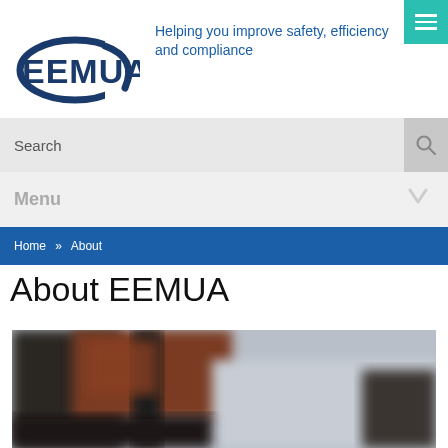[Figure (logo): EEMUA logo with oval swoosh in dark navy blue]
Helping you improve safety, efficiency and compliance
Search
Menu
Home » About
About EEMUA
[Figure (photo): Blurred industrial/building exterior photograph]